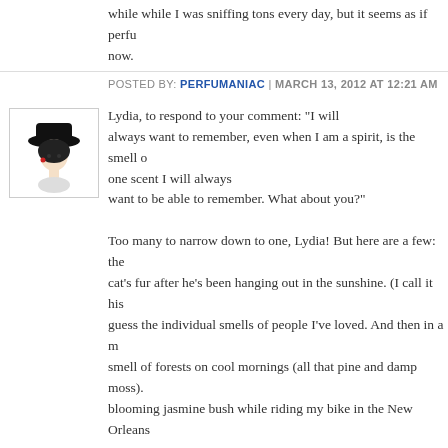while while I was sniffing tons every day, but it seems as if perfu now.
POSTED BY: PERFUMANIAC | MARCH 13, 2012 AT 12:21 AM
[Figure (illustration): Avatar: illustration of a woman with a large black hat]
Lydia, to respond to your comment: "I will always want to remember, even when I am a spirit, is the smell o one scent I will always want to be able to remember. What about you?" Too many to narrow down to one, Lydia! But here are a few: the cat's fur after he's been hanging out in the sunshine. (I call it his guess the individual smells of people I've loved. And then in a m smell of forests on cool mornings (all that pine and damp moss). blooming jasmine bush while riding my bike in the New Orleans
POSTED BY: PERFUMANIAC | MARCH 13, 2012 AT 01:10 AM
[Figure (illustration): Avatar: circular spiral/geometric pattern on blue background]
Barbara and Mals- I have the original Victoria (about 1/4 of the b this was another scent I wore in college and I must have gone th you each want a small sample let me know- Barbara has my e-m
POSTED BY: NOETIC OWL | MARCH 13, 2012 AT 12:15 PM